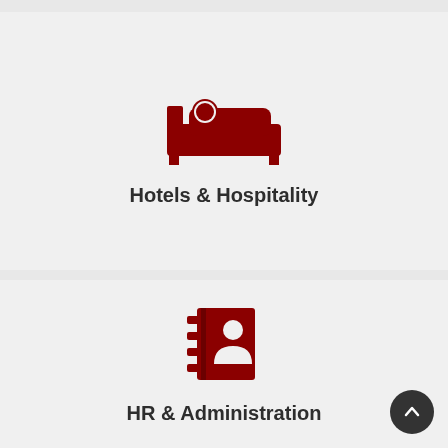[Figure (illustration): Red hotel/bed icon showing a person lying in a bed]
Hotels & Hospitality
[Figure (illustration): Red address book / contact icon with a person silhouette]
HR & Administration